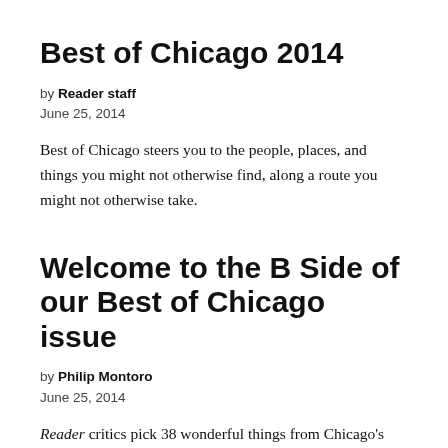Best of Chicago 2014
by Reader staff
June 25, 2014
Best of Chicago steers you to the people, places, and things you might not otherwise find, along a route you might not otherwise take.
Welcome to the B Side of our Best of Chicago issue
by Philip Montoro
June 25, 2014
Reader critics pick 38 wonderful things from Chicago's